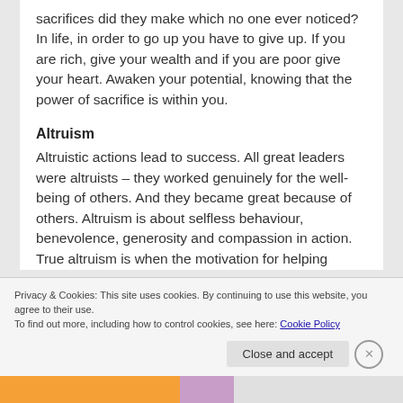sacrifices did they make which no one ever noticed? In life, in order to go up you have to give up. If you are rich, give your wealth and if you are poor give your heart. Awaken your potential, knowing that the power of sacrifice is within you.
Altruism
Altruistic actions lead to success. All great leaders were altruists – they worked genuinely for the well-being of others. And they became great because of others. Altruism is about selfless behaviour, benevolence, generosity and compassion in action. True altruism is when the motivation for helping
Privacy & Cookies: This site uses cookies. By continuing to use this website, you agree to their use.
To find out more, including how to control cookies, see here: Cookie Policy